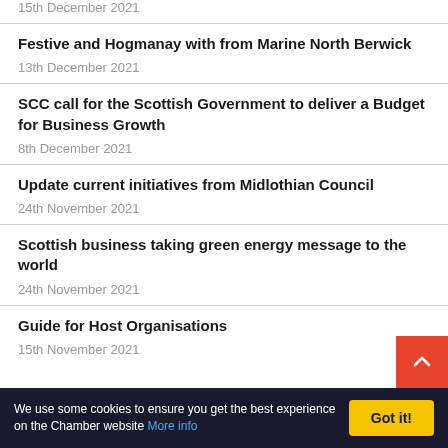15th December 2021
Festive and Hogmanay with from Marine North Berwick
13th December 2021
SCC call for the Scottish Government to deliver a Budget for Business Growth
8th December 2021
Update current initiatives from Midlothian Council
24th November 2021
Scottish business taking green energy message to the world
24th November 2021
Guide for Host Organisations
15th November 2021
We use some cookies to ensure you get the best experience on the Chamber website More info